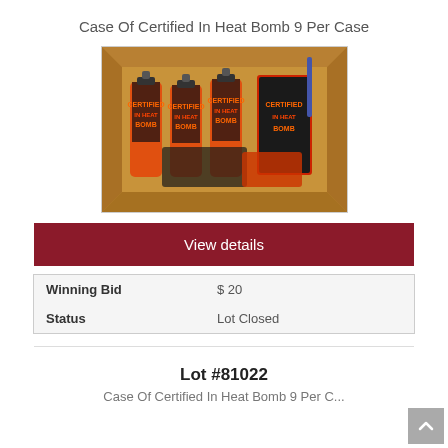Case Of Certified In Heat Bomb 9 Per Case
[Figure (photo): A cardboard box containing multiple orange spray bottles labeled 'Certified In Heat Bomb' with dark label designs, viewed from above.]
View details
| Winning Bid | $ 20 |
| Status | Lot Closed |
Lot #81022
Case Of Certified In Heat Bomb 9 Per Case